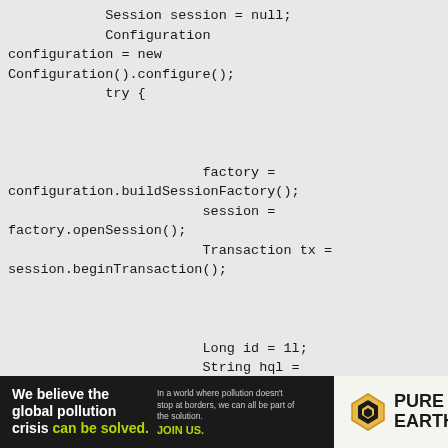Session session = null;
            Configuration configuration = new Configuration().configure();
            try {


                        factory = configuration.buildSessionFactory();
                        session = factory.openSession();
                        Transaction tx = session.beginTransaction();


                        Long id = 1l;
                        String hql = "from Student student left join fetch
[Figure (infographic): Pure Earth advertisement banner. Black background on left with text: 'We believe the global pollution crisis can be solved.' in white and green. Right side shows Pure Earth logo with diamond chevron icon on white/cream background.]